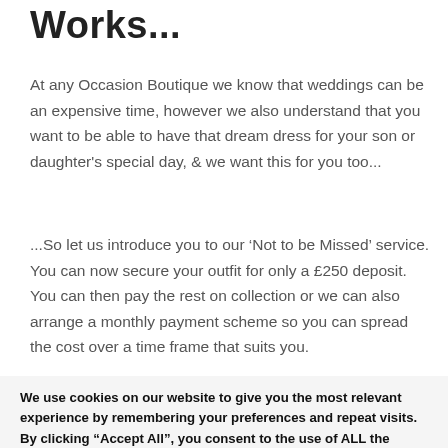Works...
At any Occasion Boutique we know that weddings can be an expensive time, however we also understand that you want to be able to have that dream dress for your son or daughter's special day, & we want this for you too...
...So let us introduce you to our ‘Not to be Missed’ service. You can now secure your outfit for only a £250 deposit. You can then pay the rest on collection or we can also arrange a monthly payment scheme so you can spread the cost over a time frame that suits you.
We use cookies on our website to give you the most relevant experience by remembering your preferences and repeat visits. By clicking “Accept All”, you consent to the use of ALL the cookies. However, you may visit "Cookie Settings" to provide a controlled consent.